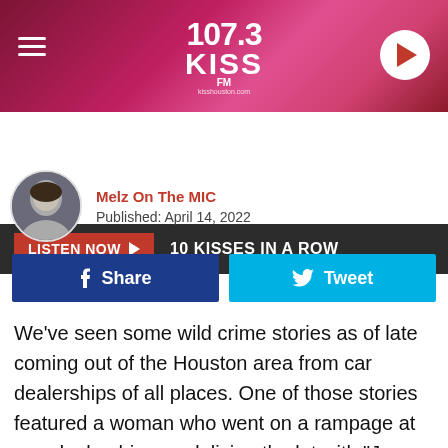[Figure (logo): 107.3 KISS FM radio station header banner with hamburger menu, logo, and play button]
LISTEN NOW  10 KISSES IN A ROW
Melz On The MIC
Published: April 14, 2022
Share  Tweet
We've seen some wild crime stories as of late coming out of the Houston area from car dealerships of all places. One of those stories featured a woman who went on a rampage at one dealership, vandalizing the lot with "Jesus Loves You" graffiti while busting windows and WALLS before stealing a Mercedes. We just came across another robbery story this week, this time involving a goofy "would be" robber who quickly reconsidered his actions when the tables got turned against him.